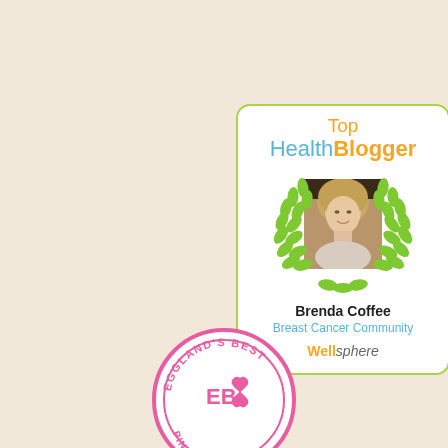[Figure (infographic): Top HealthBlogger badge from Wellsphere awarded to Brenda Coffee for Breast Cancer Community, featuring a photo of Brenda Coffee surrounded by green laurel wreaths inside a rounded white card with green border.]
[Figure (logo): Eggland's Best circular badge with 'EB' logo and pink ribbon, reading 'EGGLAND'S BEST' and 'PINK...' around the circle]